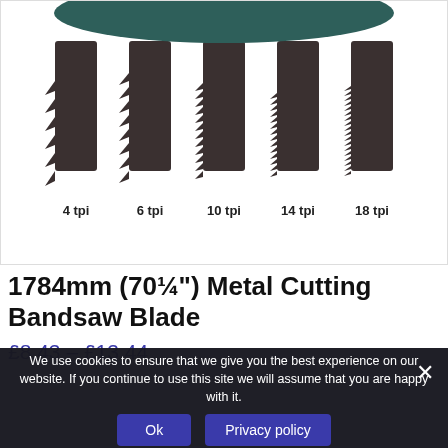[Figure (photo): Product image showing five bandsaw blade tooth profile samples labeled 4 tpi, 6 tpi, 10 tpi, 14 tpi, and 18 tpi, with a dark teal bandsaw wheel visible at the top.]
1784mm (70¼") Metal Cutting Bandsaw Blade
£8.43 – £13.44
We use cookies to ensure that we give you the best experience on our website. If you continue to use this site we will assume that you are happy with it.